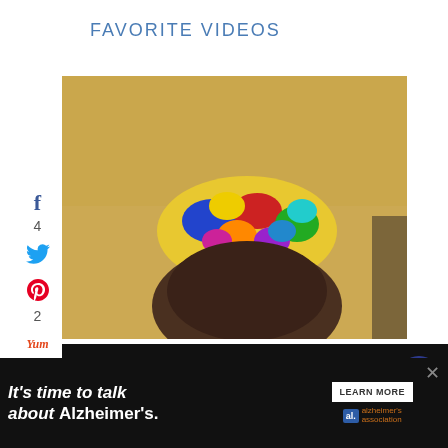FAVORITE VIDEOS
[Figure (screenshot): Social media sidebar with Facebook (f, count 4), Twitter (bird icon), Pinterest (P, count 2), Yummly icons, and share count: 6 SHARES]
[Figure (photo): Main video thumbnail showing top of a person's head wearing a colorful kippah, against a beige/tan background]
[Figure (screenshot): Second video thumbnail with dark background, circular avatar of a woman, title text 'Communities In Schools - ...' and three-dot menu icon]
[Figure (screenshot): Heart/like button (dark blue circle, count 7) and share button]
[Figure (screenshot): Advertisement bar: 'It's time to talk about Alzheimer's.' with LEARN MORE button and Alzheimer's Association logo]